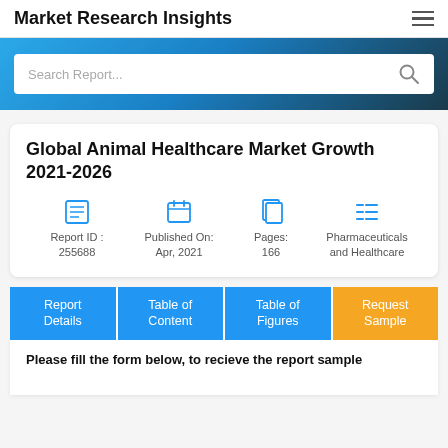Market Research Insights
[Figure (screenshot): Search bar with placeholder text 'Search Report...' and a search icon, on a blue gradient hero banner background]
Global Animal Healthcare Market Growth 2021-2026
Report ID : 255688 | Published On: Apr, 2021 | Pages: 166 | Pharmaceuticals and Healthcare
Report Details | Table of Content | Table of Figures | Request Sample
Please fill the form below, to recieve the report sample